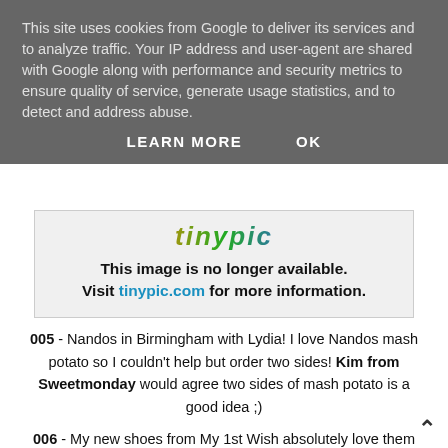This site uses cookies from Google to deliver its services and to analyze traffic. Your IP address and user-agent are shared with Google along with performance and security metrics to ensure quality of service, generate usage statistics, and to detect and address abuse.
LEARN MORE   OK
[Figure (screenshot): Tinypic logo and placeholder message: This image is no longer available. Visit tinypic.com for more information.]
005 - Nandos in Birmingham with Lydia! I love Nandos mash potato so I couldn't help but order two sides! Kim from Sweetmonday would agree two sides of mash potato is a good idea ;)
006 - My new shoes from My 1st Wish absolutely love them and they were a bargain too! (yay!)
[Figure (illustration): Yellow smiley face emoji (partially visible, cropped at bottom)]